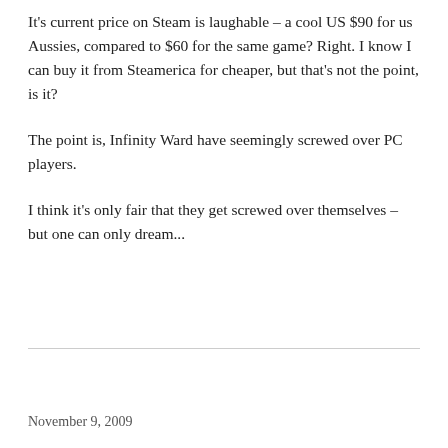It's current price on Steam is laughable – a cool US $90 for us Aussies, compared to $60 for the same game? Right. I know I can buy it from Steamerica for cheaper, but that's not the point, is it?
The point is, Infinity Ward have seemingly screwed over PC players.
I think it's only fair that they get screwed over themselves – but one can only dream...
November 9, 2009